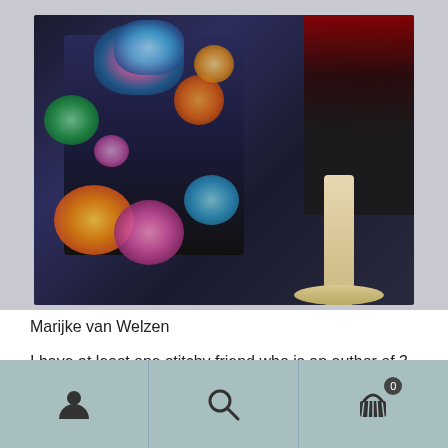[Figure (photo): A colorful quilted jacket/coat with floral patterns on a dark background, displayed on or near a mannequin stand. Another garment visible on the right side.]
Marijke van Welzen
I have at least one stitchy friend who is an author of 3-d dolls. Kate Crossley's work was very detailed, especially around the base.
Navigation bar with user icon, search icon, and cart icon (0)